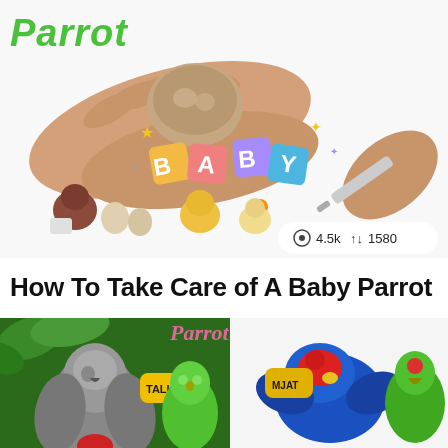[Figure (photo): Baby parrot care thumbnail image showing hands holding a baby parrot/egg, colorful BABY letter blocks, small baby parrots, and a syringe for feeding. Green italic text 'Parrot' visible at top left. Stats overlay showing eye icon 4.5k views and 1580 interactions.]
How To Take Care of A Baby Parrot
[Figure (photo): Parrot talk/chat thumbnail image showing various parrots including a grey African parrot, green budgerigar, and colorful macaws. Yellow TALK and MJAT chat bubble icons visible. Pink cursive text partially visible at top.]